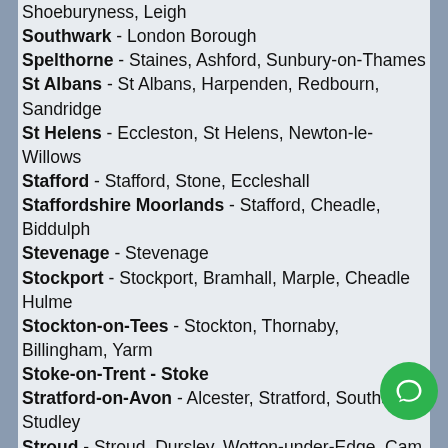Shoeburyness, Leigh
Southwark - London Borough
Spelthorne - Staines, Ashford, Sunbury-on-Thames
St Albans - St Albans, Harpenden, Redbourn, Sandridge
St Helens - Eccleston, St Helens, Newton-le-Willows
Stafford - Stafford, Stone, Eccleshall
Staffordshire Moorlands - Stafford, Cheadle, Biddulph
Stevenage - Stevenage
Stockport - Stockport, Bramhall, Marple, Cheadle Hulme
Stockton-on-Tees - Stockton, Thornaby, Billingham, Yarm
Stoke-on-Trent - Stoke
Stratford-on-Avon - Alcester, Stratford, Southam, Studley
Stroud - Stroud, Dursley, Wotton-under-Edge, Cam
Sunderland - Sunderland, Houghton-le-Spring, Washington
Surrey Heath - Camberley, Frimley, Lightwater, Bagshot
Sutton - London Borough